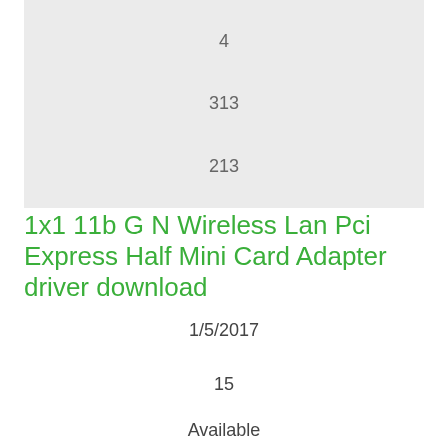[Figure (other): Gray box containing numbers 4, 313, 213 arranged vertically]
1x1 11b G N Wireless Lan Pci Express Half Mini Card Adapter driver download
1/5/2017
15
Available